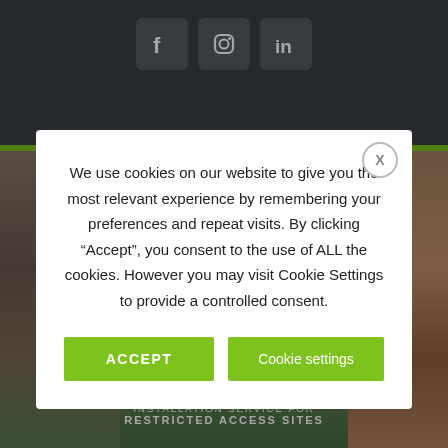[Figure (screenshot): Dark grey navigation bar with three social media icons (Facebook, Instagram, LinkedIn) displayed as rounded square buttons]
[Figure (photo): Construction/demolition site photo visible behind the modal overlay, showing brick buildings and machinery. A green lime-colored horizontal stripe separates the dark header from the photo. Bottom shows text overlay: 'INSTALLATION SERVICE FOR RESTRICTED ACCESS SITES']
We use cookies on our website to give you the most relevant experience by remembering your preferences and repeat visits. By clicking “Accept”, you consent to the use of ALL the cookies. However you may visit Cookie Settings to provide a controlled consent.
ACCEPT
Cookie settings
INSTALLATION SERVICE FOR RESTRICTED ACCESS SITES